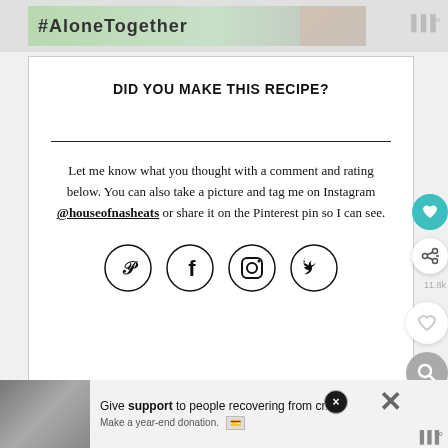[Figure (screenshot): Top advertisement banner with hashtag text and image of two people]
DID YOU MAKE THIS RECIPE?
Let me know what you thought with a comment and rating below. You can also take a picture and tag me on Instagram @houseofnasheats or share it on the Pinterest pin so I can see.
[Figure (infographic): Social media icons: Pinterest, Facebook, Instagram, Twitter in circular outlines]
[Figure (screenshot): Bottom advertisement: Give support to people recovering from crisis. Make a year-end donation.]